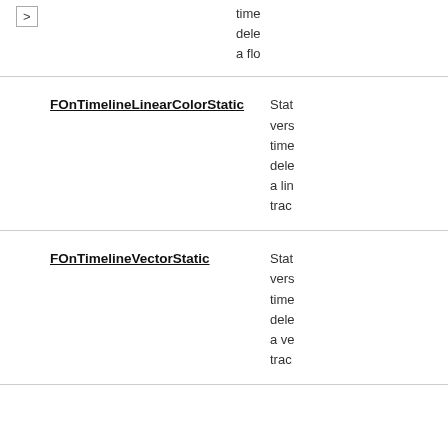> (arrow button) | time dele a flo
FOnTimelineLinearColorStatic | Stat vers time dele a lin trac
FOnTimelineVectorStatic | Stat vers time dele a ve trac